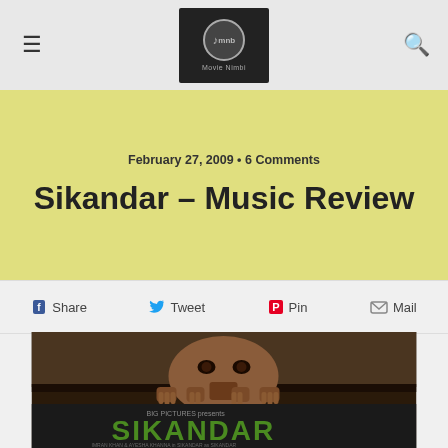≡  [Movie Nimbi Logo]  🔍
February 27, 2009 • 6 Comments
Sikandar – Music Review
f Share   Tweet   Pin   Mail
[Figure (photo): Movie poster for Sikandar showing a man peering through a gap with the film title SIKANDAR in green letters at the bottom]